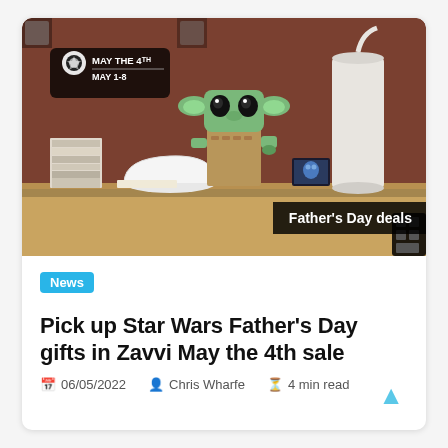[Figure (photo): A LEGO Grogu (Baby Yoda) figure on a wooden shelf with books, a white bowl, and a white cylindrical lamp. Overlays include a 'May the 4th / May 1-8' event badge in the top-left corner and a 'Father's Day deals' badge in the bottom-right corner.]
News
Pick up Star Wars Father's Day gifts in Zavvi May the 4th sale
06/05/2022  Chris Wharfe  4 min read